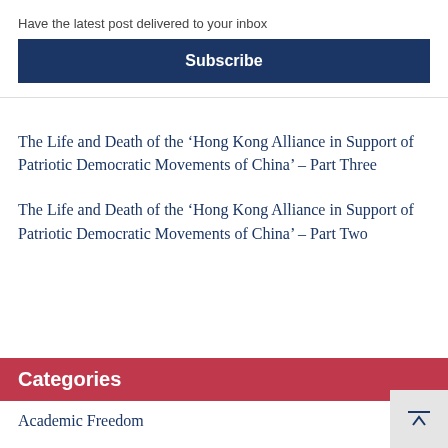Have the latest post delivered to your inbox
Subscribe
The Life and Death of the ‘Hong Kong Alliance in Support of Patriotic Democratic Movements of China’ – Part Three
The Life and Death of the ‘Hong Kong Alliance in Support of Patriotic Democratic Movements of China’ – Part Two
Categories
Academic Freedom